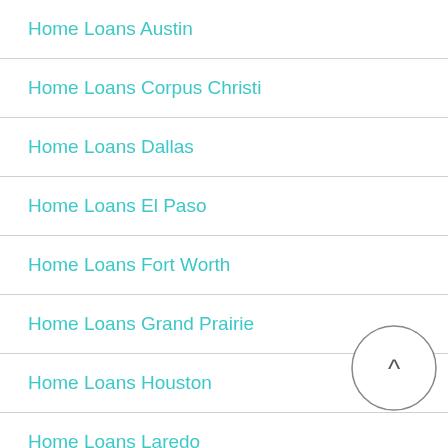Home Loans Austin
Home Loans Corpus Christi
Home Loans Dallas
Home Loans El Paso
Home Loans Fort Worth
Home Loans Grand Prairie
Home Loans Houston
Home Loans Laredo
Home Loans Midland